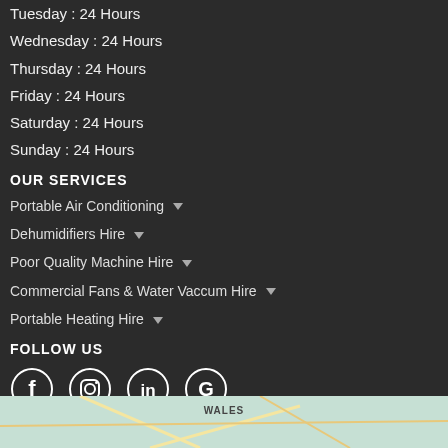Tuesday : 24 Hours
Wednesday : 24 Hours
Thursday : 24 Hours
Friday : 24 Hours
Saturday : 24 Hours
Sunday : 24 Hours
OUR SERVICES
Portable Air Conditioning
Dehumidifiers Hire
Poor Quality Machine Hire
Commercial Fans & Water Vaccum Hire
Portable Heating Hire
FOLLOW US
[Figure (infographic): Social media icons: Facebook, Instagram, LinkedIn, Google]
[Figure (map): Map snippet showing Wales region]